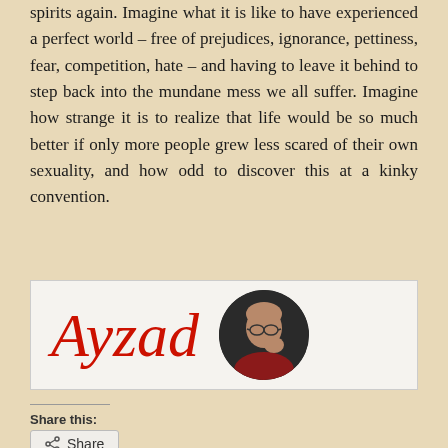spirits again. Imagine what it is like to have experienced a perfect world – free of prejudices, ignorance, pettiness, fear, competition, hate – and having to leave it behind to step back into the mundane mess we all suffer. Imagine how strange it is to realize that life would be so much better if only more people grew less scared of their own sexuality, and how odd to discover this at a kinky convention.
[Figure (logo): Author signature logo: red cursive text 'Ayzad' on light background with circular author photo of a bald man with glasses on the right]
Share this:
Share